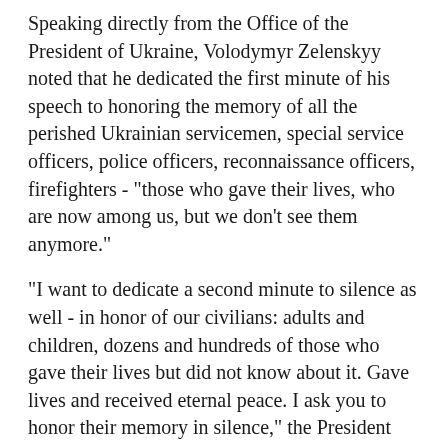Speaking directly from the Office of the President of Ukraine, Volodymyr Zelenskyy noted that he dedicated the first minute of his speech to honoring the memory of all the perished Ukrainian servicemen, special service officers, police officers, reconnaissance officers, firefighters - "those who gave their lives, who are now among us, but we don't see them anymore."
"I want to dedicate a second minute to silence as well - in honor of our civilians: adults and children, dozens and hundreds of those who gave their lives but did not know about it. Gave lives and received eternal peace. I ask you to honor their memory in silence," the President said.
The President dedicated the third minute to the people of Europe.
"Don't be silent. Come to the streets. Support Ukraine. Support our freedom. Because this is a victory not only over the Russian military, it is a victory of light over